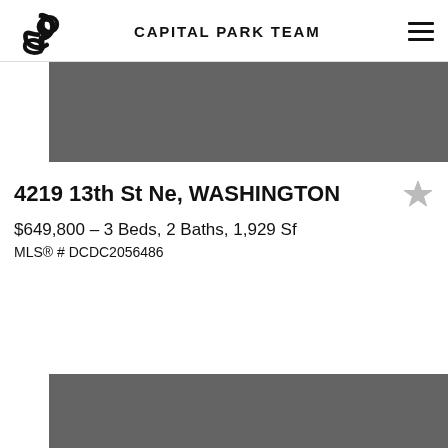CAPITAL PARK TEAM
[Figure (photo): Property listing photo placeholder (gray rectangle)]
4219 13th St Ne, WASHINGTON
$649,800 - 3 Beds, 2 Baths, 1,929 Sf
MLS® # DCDC2056486
[Figure (photo): Second property listing photo placeholder (gray rectangle, partially visible)]